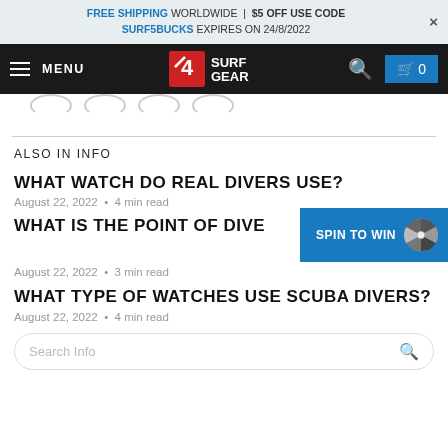FREE SHIPPING WORLDWIDE | $5 OFF USE CODE SURF5BUCKS EXPIRES ON 24/8/2022
MENU — SURF GEAR logo — search — cart 0
ALSO IN INFO
WHAT WATCH DO REAL DIVERS USE?
August 22, 2022 • 4 min read
WHAT IS THE POINT OF DIVE W...
August 22, 2022 • 3 min read
WHAT TYPE OF WATCHES USE SCUBA DIVERS?
August 22, 2022 • 4 min read
Search Info